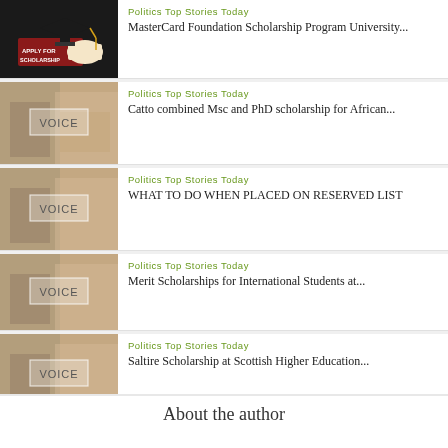[Figure (photo): Graduation cap on books with 'APPLY FOR SCHOLARSHIP' text]
Politics Top Stories Today
MasterCard Foundation Scholarship Program University...
[Figure (photo): VOICE placeholder image with blurred books background]
Politics Top Stories Today
Catto combined Msc and PhD scholarship for African...
[Figure (photo): VOICE placeholder image with blurred books background]
Politics Top Stories Today
WHAT TO DO WHEN PLACED ON RESERVED LIST
[Figure (photo): VOICE placeholder image with blurred books background]
Politics Top Stories Today
Merit Scholarships for International Students at...
[Figure (photo): VOICE placeholder image with blurred books background]
Politics Top Stories Today
Saltire Scholarship at Scottish Higher Education...
About the author